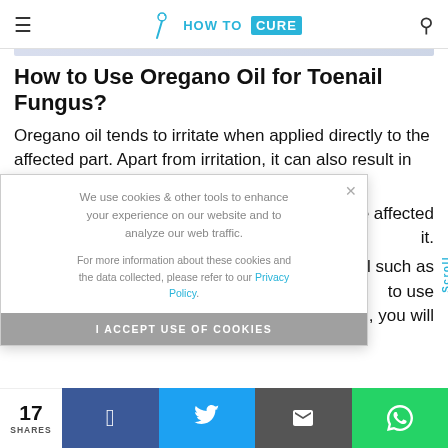HOW TO CURE
How to Use Oregano Oil for Toenail Fungus?
Oregano oil tends to irritate when applied directly to the affected part. Apart from irritation, it can also result in skin redness with a burning [sensation around the affected area. To avoid it. ...oil such as ...to use ...oil, you will]
We use cookies & other tools to enhance your experience on our website and to analyze our web traffic.

For more information about these cookies and the data collected, please refer to our Privacy Policy.

I ACCEPT USE OF COOKIES
Scroll
17 SHARES